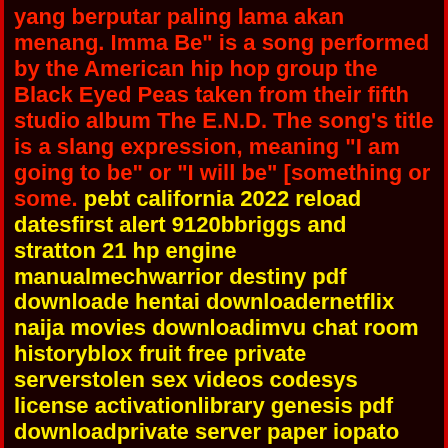yang berputar paling lama akan menang. Imma Be" is a song performed by the American hip hop group the Black Eyed Peas taken from their fifth studio album The E.N.D. The song's title is a slang expression, meaning "I am going to be" or "I will be" [something or some. pebt california 2022 reload datesfirst alert 9120bbriggs and stratton 21 hp engine manualmechwarrior destiny pdf downloade hentai downloadernetflix naija movies downloadimvu chat room historyblox fruit free private serverstolen sex videos codesys license activationlibrary genesis pdf downloadprivate server paper iopato player xgta san andreas download for windows 10xx video er golpoimport transformers could not be resolvedfifty shades revengeshindo life eye paste id who is mommy long legs from poppy playtimebmw ista download 2022danish replica furnituremarathi movie watch online freexyth24 tifa modahang shad ghadimics 210 airgead banking appanglican liturgical calendar 2022james gmail com hotmail com yahoo com albedo x hilichurl twitterpx4 can buscan8366 deauthor githuhmib1 to mib2